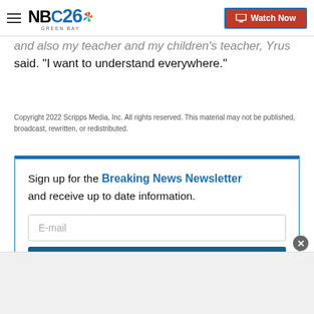NBC26 Green Bay | Watch Now
and also my teacher and my children's teacher, Yrus said. "I want to understand everywhere."
Copyright 2022 Scripps Media, Inc. All rights reserved. This material may not be published, broadcast, rewritten, or redistributed.
Sign up for the Breaking News Newsletter and receive up to date information.
E-mail
Submit